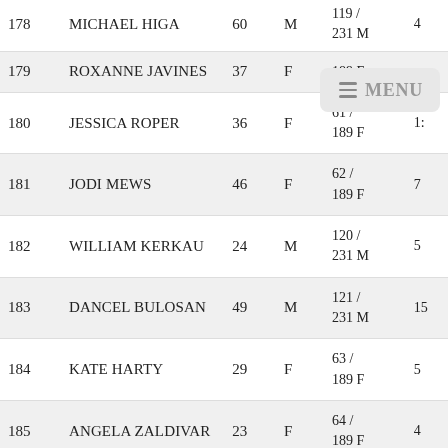| # | Name | Age | Gender | Info | Extra |
| --- | --- | --- | --- | --- | --- |
| 178 | MICHAEL HIGA | 60 | M | 119 / 231 M | 4 |
| 179 | ROXANNE JAVINES | 37 | F | 189 F |  |
| 180 | JESSICA ROPER | 36 | F | 61 / 189 F | 1: |
| 181 | JODI MEWS | 46 | F | 62 / 189 F | 7 |
| 182 | WILLIAM KERKAU | 24 | M | 120 / 231 M | 5 |
| 183 | DANCEL BULOSAN | 49 | M | 121 / 231 M | 15 |
| 184 | KATE HARTY | 29 | F | 63 / 189 F | 5 |
| 185 | ANGELA ZALDIVAR | 23 | F | 64 / 189 F | 4 |